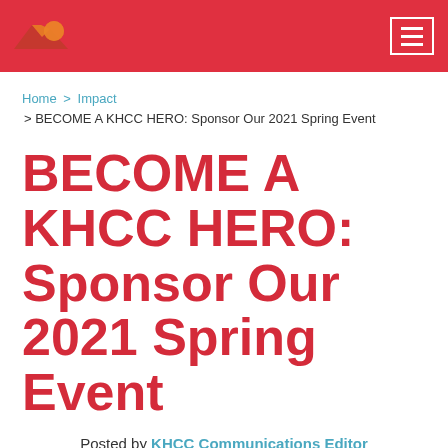KHCC header with logo and navigation menu
Home > Impact > BECOME A KHCC HERO: Sponsor Our 2021 Spring Event
BECOME A KHCC HERO: Sponsor Our 2021 Spring Event
Posted by KHCC Communications Editor
May 05, 2021
Press Releases